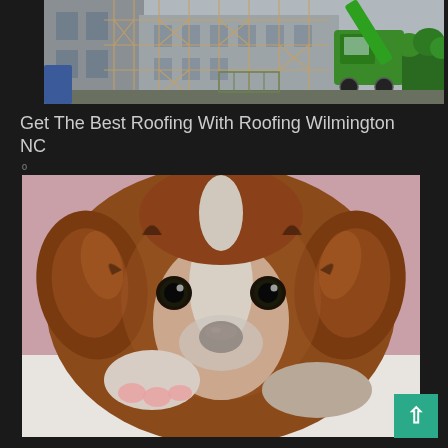[Figure (photo): Construction site with scaffolding on a building and a green crane/telehandler vehicle in the foreground, grey sky background, hedgerow on right]
Get The Best Roofing With Roofing Wilmington NC
[Figure (photo): Close-up portrait of a Cavalier King Charles Spaniel puppy with brown and white fur, dark eyes, black nose, resting its chin/paws on a white surface, pink blurred background]